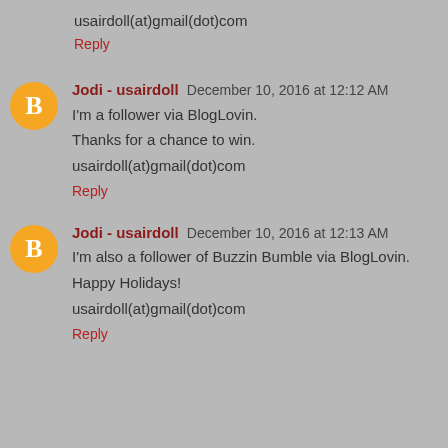usairdoll(at)gmail(dot)com
Reply
Jodi - usairdoll  December 10, 2016 at 12:12 AM
I'm a follower via BlogLovin.

Thanks for a chance to win.

usairdoll(at)gmail(dot)com
Reply
Jodi - usairdoll  December 10, 2016 at 12:13 AM
I'm also a follower of Buzzin Bumble via BlogLovin.

Happy Holidays!

usairdoll(at)gmail(dot)com
Reply